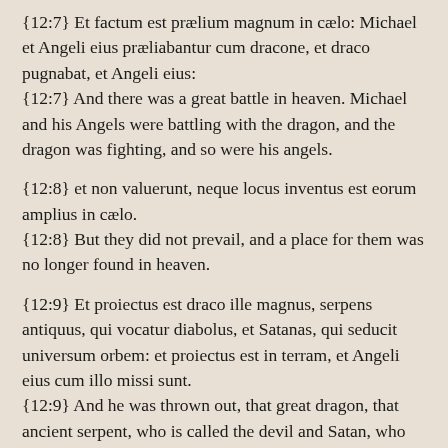{12:7} Et factum est prælium magnum in cælo: Michael et Angeli eius præliabantur cum dracone, et draco pugnabat, et Angeli eius: {12:7} And there was a great battle in heaven. Michael and his Angels were battling with the dragon, and the dragon was fighting, and so were his angels.
{12:8} et non valuerunt, neque locus inventus est eorum amplius in cælo. {12:8} But they did not prevail, and a place for them was no longer found in heaven.
{12:9} Et proiectus est draco ille magnus, serpens antiquus, qui vocatur diabolus, et Satanas, qui seducit universum orbem: et proiectus est in terram, et Angeli eius cum illo missi sunt. {12:9} And he was thrown out, that great dragon, that ancient serpent, who is called the devil and Satan, who seduces the whole world. And he was thrown down to the